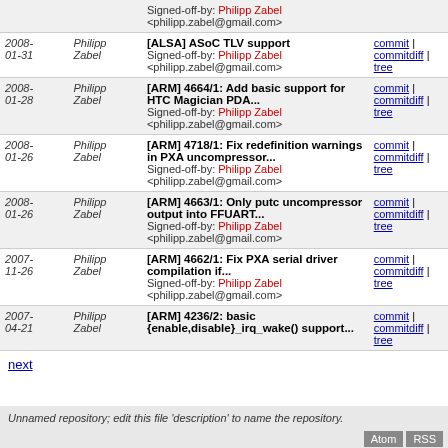| Date | Author | Message | Links |
| --- | --- | --- | --- |
| 2008-01-31 | Philipp Zabel | [ALSA] ASoC TLV support
Signed-off-by: Philipp Zabel <philipp.zabel@gmail.com> | commit | commitdiff | tree |
| 2008-01-28 | Philipp Zabel | [ARM] 4664/1: Add basic support for HTC Magician PDA...
Signed-off-by: Philipp Zabel <philipp.zabel@gmail.com> | commit | commitdiff | tree |
| 2008-01-26 | Philipp Zabel | [ARM] 4718/1: Fix redefinition warnings in PXA uncompressor...
Signed-off-by: Philipp Zabel <philipp.zabel@gmail.com> | commit | commitdiff | tree |
| 2008-01-26 | Philipp Zabel | [ARM] 4663/1: Only putc uncompressor output into FFUART...
Signed-off-by: Philipp Zabel <philipp.zabel@gmail.com> | commit | commitdiff | tree |
| 2007-11-26 | Philipp Zabel | [ARM] 4662/1: Fix PXA serial driver compilation if...
Signed-off-by: Philipp Zabel <philipp.zabel@gmail.com> | commit | commitdiff | tree |
| 2007-04-21 | Philipp Zabel | [ARM] 4236/2: basic {enable,disable}_irq_wake() support... | commit | commitdiff | tree |
next
Unnamed repository; edit this file 'description' to name the repository.